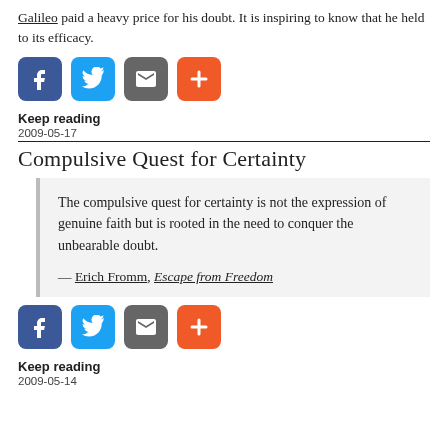Galileo paid a heavy price for his doubt. It is inspiring to know that he held to its efficacy.
[Figure (other): Social sharing buttons: Facebook, Twitter, Email/bookmark, Add (plus)]
Keep reading
2009-05-17
Compulsive Quest for Certainty
The compulsive quest for certainty is not the expression of genuine faith but is rooted in the need to conquer the unbearable doubt.

— Erich Fromm, Escape from Freedom
[Figure (other): Social sharing buttons: Facebook, Twitter, Email/bookmark, Add (plus)]
Keep reading
2009-05-14